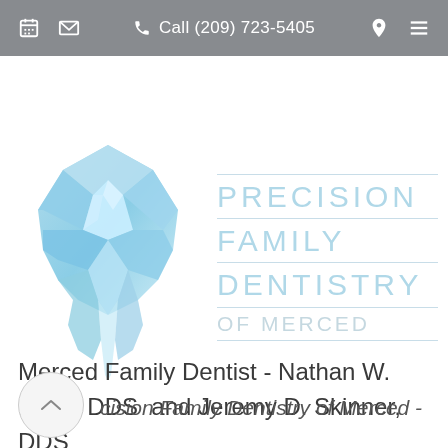Call (209) 723-5405
[Figure (logo): Geometric low-poly blue tooth logo and Precision Family Dentistry of Merced brand text]
Merced Family Dentist - Nathan W. Miller, DDS  and Jeremy D. Skinner, DDS
cision Family Dentistry of Merced -